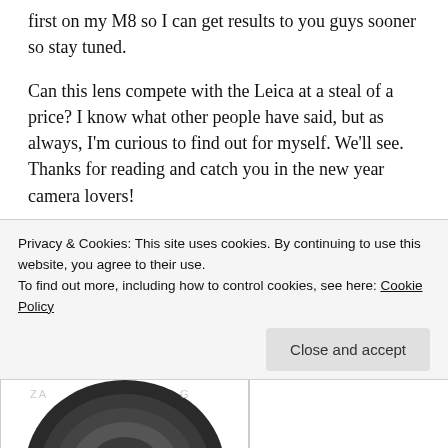first on my M8 so I can get results to you guys sooner so stay tuned.
Can this lens compete with the Leica at a steal of a price? I know what other people have said, but as always, I'm curious to find out for myself. We'll see. Thanks for reading and catch you in the new year camera lovers!
CURIOUS? GET YOUR OWN, IT'S CHEAP!
If you would like to try this lens for yourself, click on the link from our trusted affiliate below. You will find it for the usual price of $280. But if you browse around a little bit
Privacy & Cookies: This site uses cookies. By continuing to use this website, you agree to their use.
To find out more, including how to control cookies, see here: Cookie Policy
Close and accept
[Figure (photo): Partial view of a camera lens from below, showing circular lens elements]